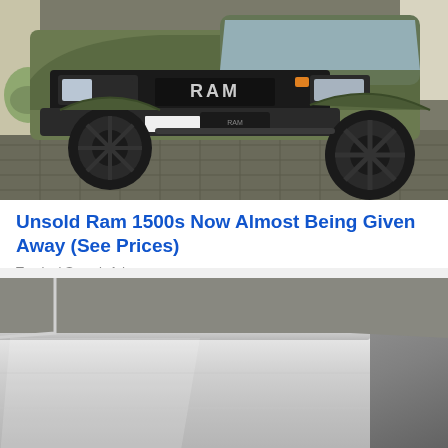[Figure (photo): Front view of a matte olive green RAM 1500 TRX pickup truck with black wheels and off-road tires, parked on a stone-paved surface]
Unsold Ram 1500s Now Almost Being Given Away (See Prices)
Trucks | Search Ads
[Figure (photo): Close-up photo of what appears to be a white/grey appliance or vehicle interior panel, showing a metallic surface with smooth lines]